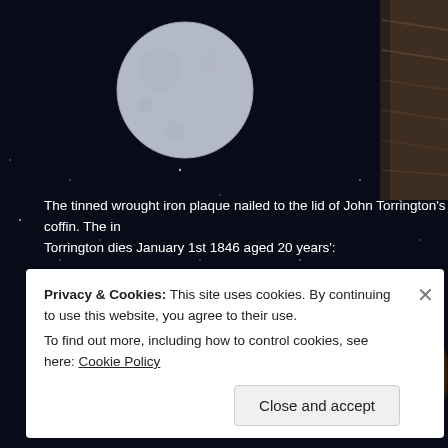[Figure (photo): Dark starry night sky background with moon visible on the upper left and partial view of a mummified figure on the upper right. Below, a photograph of a corroded metal plaque reading 'JOHN TORRINGTON DIED JANUARY 1846'.]
The tinned wrought iron plaque nailed to the lid of John Torrington's coffin. The inscription reads 'John Torrington dies January 1st 1846 aged 20 years':
Privacy & Cookies: This site uses cookies. By continuing to use this website, you agree to their use.
To find out more, including how to control cookies, see here: Cookie Policy